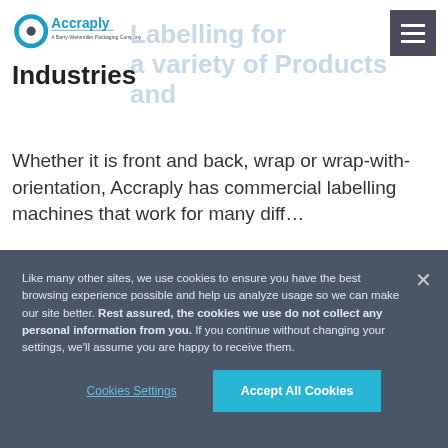Accraply – A Barry-Wehmüller Packaging Company
Labelling for a variety of Products and Industries
Whether it is front and back, wrap or wrap-with-orientation, Accraply has commercial labelling machines that work for many different...
Like many other sites, we use cookies to ensure you have the best browsing experience possible and help us analyze usage so we can make our site better. Rest assured, the cookies we use do not collect any personal information from you. If you continue without changing your settings, we'll assume you are happy to receive them.
Cookies Settings | Accept All Cookies